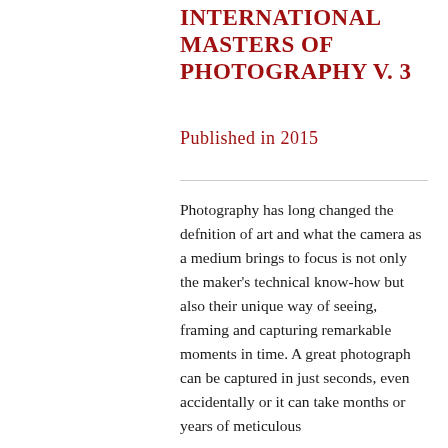INTERNATIONAL MASTERS OF PHOTOGRAPHY v. 3
Published in 2015
Photography has long changed the defnition of art and what the camera as a medium brings to focus is not only the maker's technical know-how but also their unique way of seeing, framing and capturing remarkable moments in time. A great photograph can be captured in just seconds, even accidentally or it can take months or years of meticulous